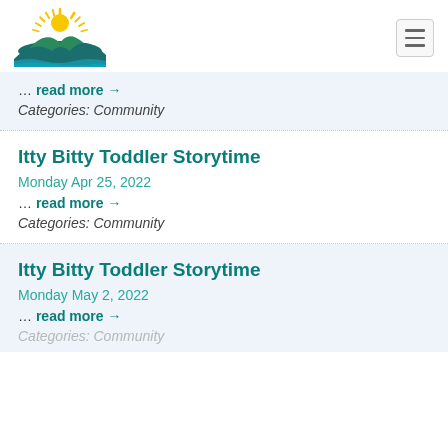[Figure (logo): Sunrise over mountains/landscape logo with sun rays, green hills, and blue waves]
... read more →
Categories: Community
Itty Bitty Toddler Storytime
Monday Apr 25, 2022
... read more →
Categories: Community
Itty Bitty Toddler Storytime
Monday May 2, 2022
... read more →
Categories: Community